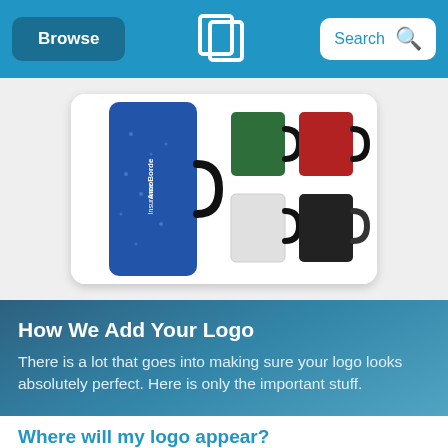Browse | [Logo] | Search
[Figure (photo): Product photo showing multiple colored mugs/tumblers. A large blue speckled tumbler with 'AmoBorde Insurance' logo on the left, and four smaller mugs in green, red, white, and black on the right, displayed on a white card background.]
How We Add Your Logo
There is a lot that goes into making sure your logo looks absolutely perfect. Here is only the important stuff.
Where will my logo appear?
Front